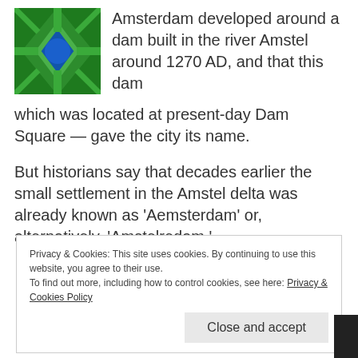[Figure (photo): Aerial view of a canal intersection with green and blue areas, likely Amsterdam from above]
Amsterdam developed around a dam built in the river Amstel around 1270 AD, and that this dam which was located at present-day Dam Square — gave the city its name.
But historians say that decades earlier the small settlement in the Amstel delta was already known as 'Aemsterdam' or, alternatively, 'Amstelredam.'
Privacy & Cookies: This site uses cookies. By continuing to use this website, you agree to their use.
To find out more, including how to control cookies, see here: Privacy & Cookies Policy